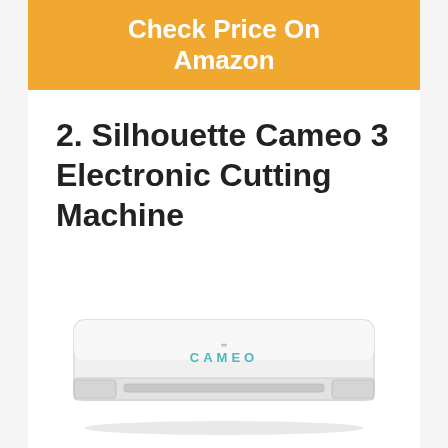Check Price On Amazon
2. Silhouette Cameo 3 Electronic Cutting Machine
[Figure (photo): Silhouette Cameo 3 electronic cutting machine, white color, front view showing the machine body with CAMEO text label and a front feed slot.]